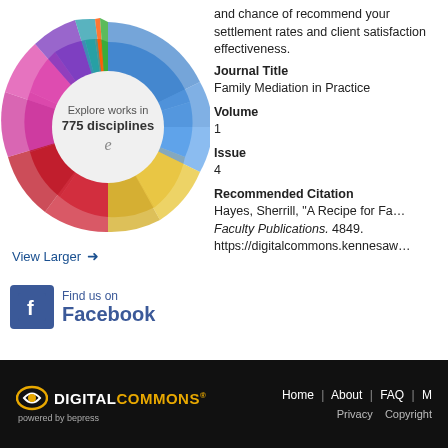[Figure (other): Colorful sunburst/radial chart with text 'Explore works in 775 disciplines' in center, showing academic disciplines in multi-colored segments]
View Larger →
[Figure (logo): Facebook logo icon (blue square with white f) next to 'Find us on Facebook' text in blue]
and chance of recommend your settlement rates and client satisfaction effectiveness.
Journal Title
Family Mediation in Practice
Volume
1
Issue
4
Recommended Citation
Hayes, Sherrill, "A Recipe for Family Mediation in Practice. Faculty Publications. 4849. https://digitalcommons.kennesaw
DIGITAL COMMONS® powered by bepress | Home | About | FAQ | M | Privacy | Copyright